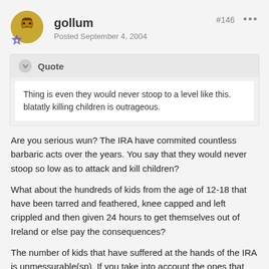gollum | Posted September 4, 2004 | #146
Quote
Thing is even they would never stoop to a level like this. blatatly killing children is outrageous.
Are you serious wun? The IRA have commited countless barbaric acts over the years. You say that they would never stoop so low as to attack and kill children?
What about the hundreds of kids from the age of 12-18 that have been tarred and feathered, knee capped and left crippled and then given 24 hours to get themselves out of Ireland or else pay the consequences?
The number of kids that have suffered at the hands of the IRA is unmessurable(sp). If you take into account the ones that have been brainwashed over the years by the so-called fight for the "cause", then